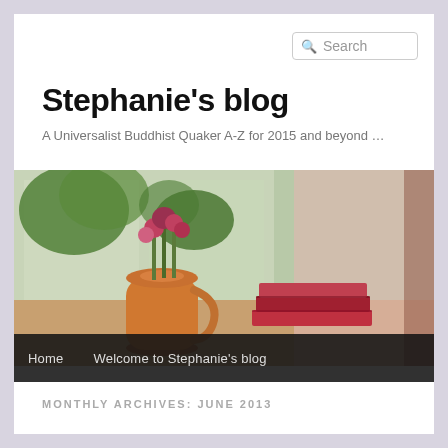Search
Stephanie's blog
A Universalist Buddhist Quaker A-Z for 2015 and beyond …
[Figure (photo): A window sill scene with an orange ceramic jug filled with flowers on the left and stacked red/pink books on the right, with green garden visible through the window.]
Home   Welcome to Stephanie's blog
MONTHLY ARCHIVES: JUNE 2013